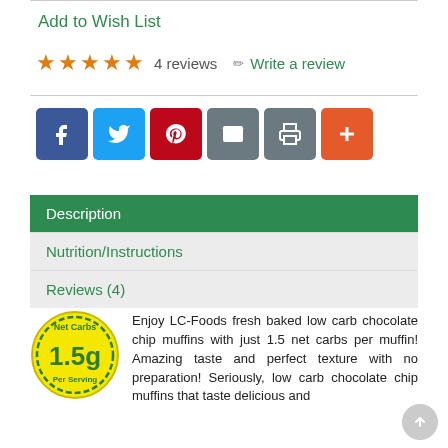Add to Wish List
★★★★★ 4 reviews ✏ Write a review
[Figure (infographic): Social sharing buttons: Facebook (blue), Twitter (light blue), Pinterest (red), Email (grey), Print (grey), Plus/More (orange-red)]
Description
Nutrition/Instructions
Reviews (4)
[Figure (infographic): Yellow circular badge with green dashed border showing 'Net Carbs 1.5g Per Serving']
Enjoy LC-Foods fresh baked low carb chocolate chip muffins with just 1.5 net carbs per muffin! Amazing taste and perfect texture with no preparation!  Seriously, low carb chocolate chip muffins that taste delicious and